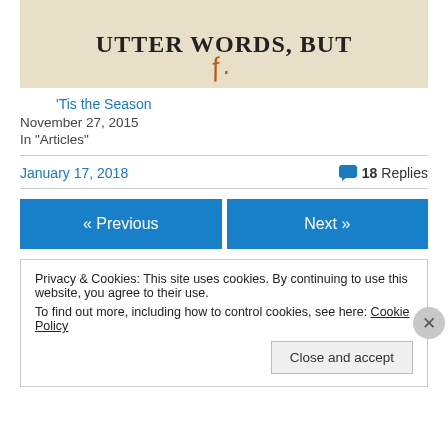[Figure (illustration): Partial image showing bold uppercase text 'UTTER WORDS, BUT' on a beige/tan background with an orange brushstroke mark]
'Tis the Season
November 27, 2015
In "Articles"
January 17, 2018
💬 18 Replies
« Previous
Next »
Privacy & Cookies: This site uses cookies. By continuing to use this website, you agree to their use.
To find out more, including how to control cookies, see here: Cookie Policy
Close and accept